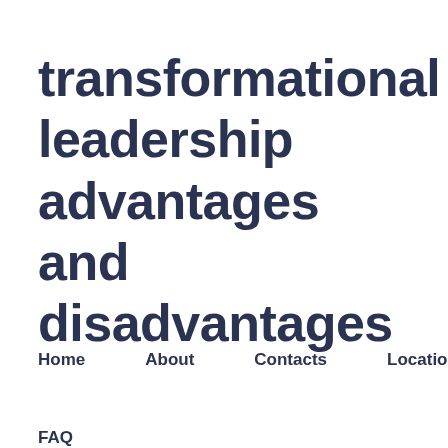transformational leadership advantages and disadvantages
Home   About   Contacts   Location
FAQ